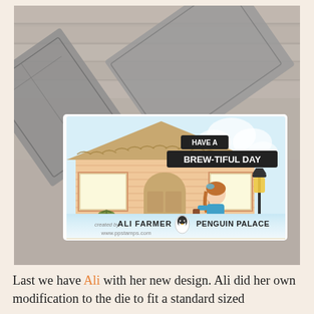[Figure (photo): Photo of a handmade greeting card featuring a die-cut house with brick walls, a kraft cardstock roof with scalloped shingle detail, an arched door, windows, a girl character holding a coffee cup, a street lamp, and a potted plant. Black banners read 'HAVE A' and 'BREW-TIFUL DAY' in white text. Die-cut metal dies are visible in the background on a wood surface. A watermark bar at bottom reads 'created by ALI FARMER' with a penguin logo and 'PENGUIN PALACE' and 'www.ppstamps.com'.]
Last we have Ali with her new design. Ali did her own modification to the die to fit a standard sized